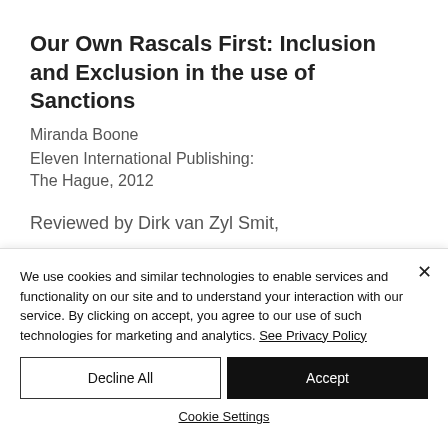Our Own Rascals First: Inclusion and Exclusion in the use of Sanctions
Miranda Boone
Eleven International Publishing: The Hague, 2012
Reviewed by Dirk van Zyl Smit,
We use cookies and similar technologies to enable services and functionality on our site and to understand your interaction with our service. By clicking on accept, you agree to our use of such technologies for marketing and analytics. See Privacy Policy
Decline All
Accept
Cookie Settings